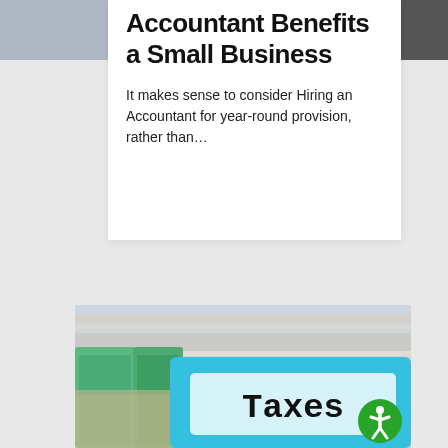Accountant Benefits a Small Business
It makes sense to consider Hiring an Accountant for year-round provision, rather than…
[Figure (photo): Blurred photo of filing folders with tab labels including a blue 'Taxes' tab in the foreground]